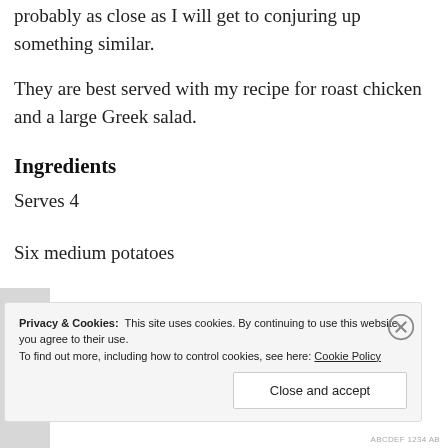probably as close as I will get to conjuring up something similar.
They are best served with my recipe for roast chicken and a large Greek salad.
Ingredients
Serves 4
Six medium potatoes
Privacy & Cookies:  This site uses cookies. By continuing to use this website, you agree to their use.
To find out more, including how to control cookies, see here: Cookie Policy
Close and accept
ABCDEF 1234 AB